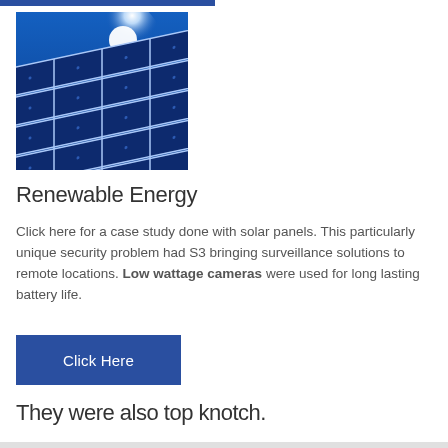[Figure (photo): Photograph of solar panels angled toward a bright sun in a blue sky with clouds]
Renewable Energy
Click here for a case study done with solar panels. This particularly unique security problem had S3 bringing surveillance solutions to remote locations. Low wattage cameras were used for long lasting battery life.
[Figure (other): Blue button with white text reading 'Click Here']
They were also top knotch.